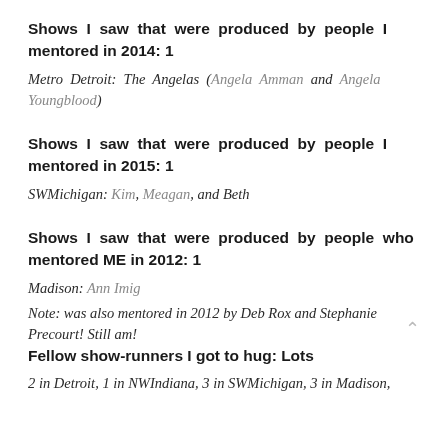Shows I saw that were produced by people I mentored in 2014: 1
Metro Detroit: The Angelas (Angela Amman and Angela Youngblood)
Shows I saw that were produced by people I mentored in 2015: 1
SWMichigan: Kim, Meagan, and Beth
Shows I saw that were produced by people who mentored ME in 2012: 1
Madison: Ann Imig
Note: was also mentored in 2012 by Deb Rox and Stephanie Precourt! Still am!
Fellow show-runners I got to hug: Lots
2 in Detroit, 1 in NWIndiana, 3 in SWMichigan, 3 in Madison,